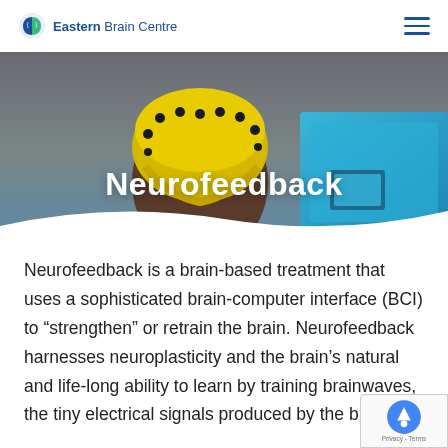Eastern Brain Centre
[Figure (photo): Person wearing a yellow EEG/neurofeedback cap with electrodes, viewed from behind, facing a blue screen. Hero banner image for Neurofeedback page.]
Neurofeedback
Neurofeedback is a brain-based treatment that uses a sophisticated brain-computer interface (BCI) to “strengthen” or retrain the brain. Neurofeedback harnesses neuroplasticity and the brain’s natural and life-long ability to learn by training brainwaves, the tiny electrical signals produced by the brain.